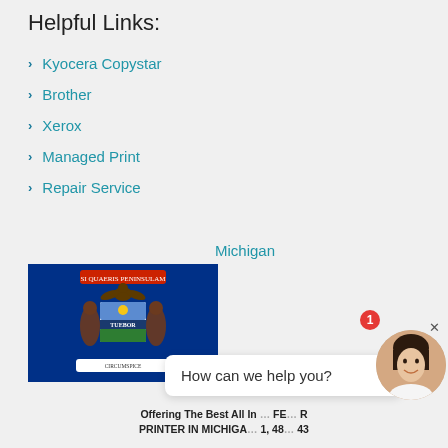Helpful Links:
Kyocera Copystar
Brother
Xerox
Managed Print
Repair Service
Michigan
[Figure (illustration): Michigan state flag showing blue background with state coat of arms featuring elk and moose supporters, eagle on top, and shield with sun and water scene]
How can we help you?
Offering The Best All In One... PRINTER IN MICHIGAN... 1, 48... 43